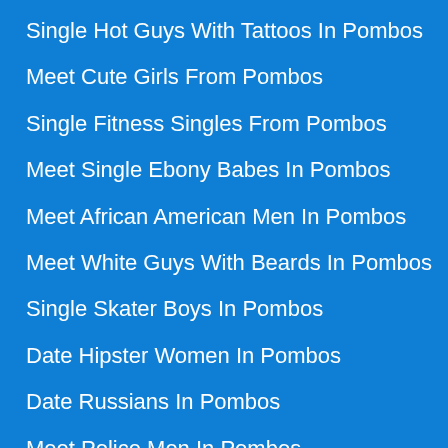Single Hot Guys With Tattoos In Pombos
Meet Cute Girls From Pombos
Single Fitness Singles From Pombos
Meet Single Ebony Babes In Pombos
Meet African American Men In Pombos
Meet White Guys With Beards In Pombos
Single Skater Boys In Pombos
Date Hipster Women In Pombos
Date Russians In Pombos
Meet Police Men In Pombos
Date Specialists In Pombos